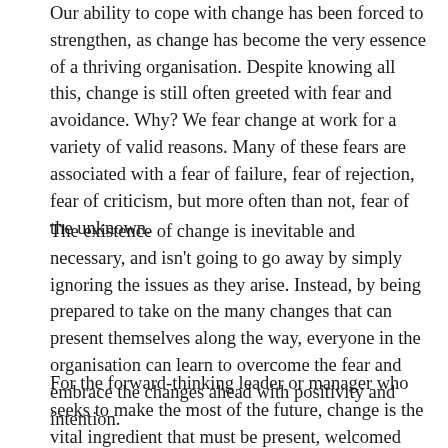Our ability to cope with change has been forced to strengthen, as change has become the very essence of a thriving organisation. Despite knowing all this, change is still often greeted with fear and avoidance. Why? We fear change at work for a variety of valid reasons. Many of these fears are associated with a fear of failure, fear of rejection, fear of criticism, but more often than not, fear of the unknown.
The existence of change is inevitable and necessary, and isn't going to go away by simply ignoring the issues as they arise. Instead, by being prepared to take on the many changes that can present themselves along the way, everyone in the organisation can learn to overcome the fear and embrace the changes ahead with positivity and intention.
For the forward-thinking leader or manager who seeks to make the most of the future, change is the vital ingredient that must be present, welcomed and nurtured. Below are a few suggestions on how to help your team tackle change better, and how you can lead them through